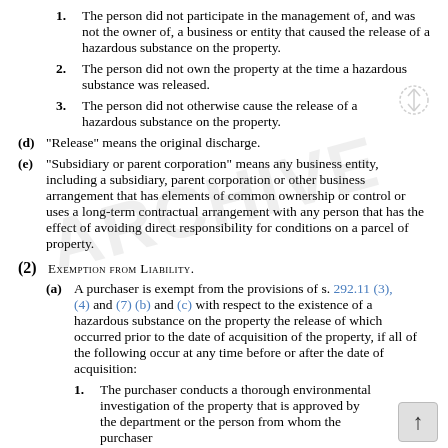1. The person did not participate in the management of, and was not the owner of, a business or entity that caused the release of a hazardous substance on the property.
2. The person did not own the property at the time a hazardous substance was released.
3. The person did not otherwise cause the release of a hazardous substance on the property.
(d) "Release" means the original discharge.
(e) "Subsidiary or parent corporation" means any business entity, including a subsidiary, parent corporation or other business arrangement that has elements of common ownership or control or uses a long-term contractual arrangement with any person that has the effect of avoiding direct responsibility for conditions on a parcel of property.
(2) Exemption from Liability.
(a) A purchaser is exempt from the provisions of s. 292.11 (3), (4) and (7) (b) and (c) with respect to the existence of a hazardous substance on the property the release of which occurred prior to the date of acquisition of the property, if all of the following occur at any time before or after the date of acquisition:
1. The purchaser conducts a thorough environmental investigation of the property that is approved by the department or the person from whom the purchaser